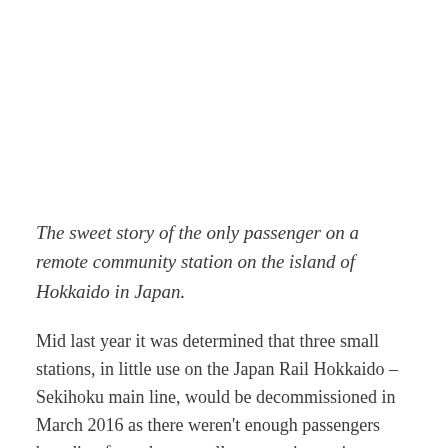The sweet story of the only passenger on a remote community station on the island of Hokkaido in Japan.
Mid last year it was determined that three small stations, in little use on the Japan Rail Hokkaido – Sekihoku main line, would be decommissioned in March 2016 as there weren't enough passengers boarding from those small community stations.
A sweet story soon emerged about one of the remote railway stations Kyū-Shirataki, where teenager Harada